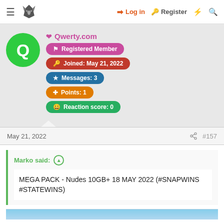Log in  Register
Qwerty.com
Registered Member
Joined: May 21, 2022
Messages: 3
Points: 1
Reaction score: 0
May 21, 2022  #157
Marko said:
MEGA PACK - Nudes 10GB+ 18 MAY 2022 (#SNAPWINS #STATEWINS)